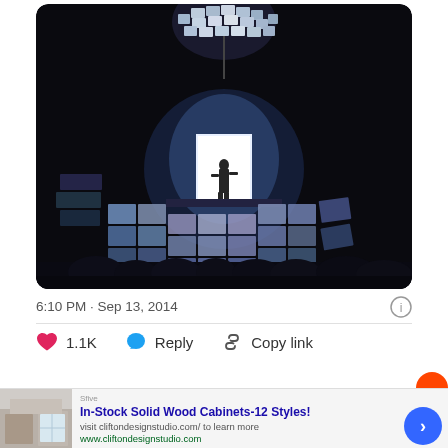[Figure (photo): Concert stage photo: a performer silhouetted in a bright doorway/screen at center stage, surrounded by a grid of video screens below, and a large spherical light fixture hanging above. Crowd silhouettes visible at the bottom.]
6:10 PM · Sep 13, 2014
1.1K   Reply   Copy link
In-Stock Solid Wood Cabinets-12 Styles!
visit cliftondesignstudio.com/ to learn more
www.cliftondesignstudio.com